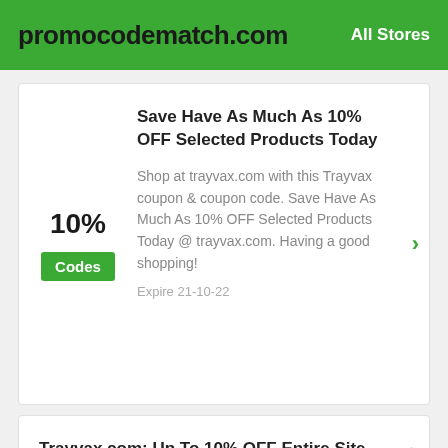promocodematch.com   All Stores
10%
Codes
Save Have As Much As 10% OFF Selected Products Today
Shop at trayvax.com with this Trayvax coupon & coupon code. Save Have As Much As 10% OFF Selected Products Today @ trayvax.com. Having a good shopping!
Expire 21-10-22
Trayvax.com: Up To 10% OFF Entire Site
Snatch those huge saving this